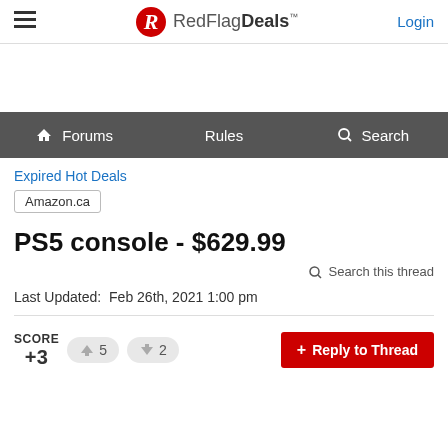RedFlagDeals™ — Login
Forums | Rules | Search
Expired Hot Deals
Amazon.ca
PS5 console - $629.99
Search this thread
Last Updated: Feb 26th, 2021 1:00 pm
SCORE +3 | 5 up | 2 down
+ Reply to Thread